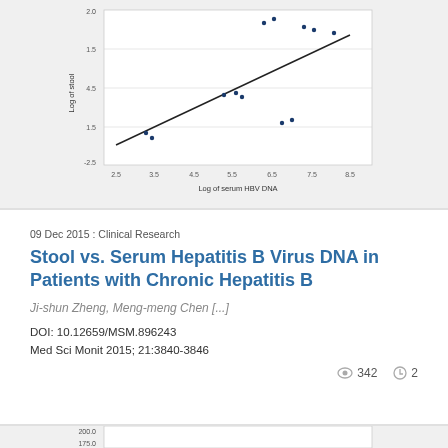[Figure (continuous-plot): Scatter plot with regression line showing Log of stool HBV DNA vs Log of serum HBV DNA, with data points clustered and a positive trend line]
09 Dec 2015 : Clinical Research
Stool vs. Serum Hepatitis B Virus DNA in Patients with Chronic Hepatitis B
Ji-shun Zheng, Meng-meng Chen [...]
DOI: 10.12659/MSM.896243
Med Sci Monit 2015; 21:3840-3846
342
2
[Figure (continuous-plot): Box plot showing two groups with values ranging from about 100 to 200 on y-axis, partially visible at bottom of page]